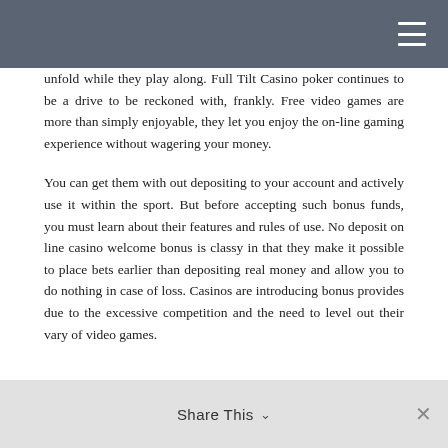unfold while they play along. Full Tilt Casino poker continues to be a drive to be reckoned with, frankly. Free video games are more than simply enjoyable, they let you enjoy the on-line gaming experience without wagering your money.
You can get them with out depositing to your account and actively use it within the sport. But before accepting such bonus funds, you must learn about their features and rules of use. No deposit on line casino welcome bonus is classy in that they make it possible to place bets earlier than depositing real money and allow you to do nothing in case of loss. Casinos are introducing bonus provides due to the excessive competition and the need to level out their vary of video games.
Share This